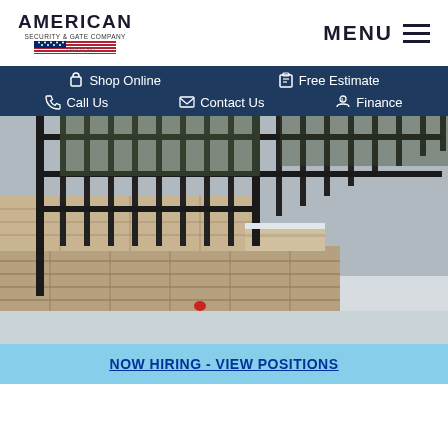AMERICAN SECURITY & GATE COMPANY FARGO, ND | MENU
Shop Online | Free Estimate | Call Us | Contact Us | Finance
[Figure (photo): Black wrought iron fence on stone retaining wall steps with snow on ground]
NOW HIRING - VIEW POSITIONS